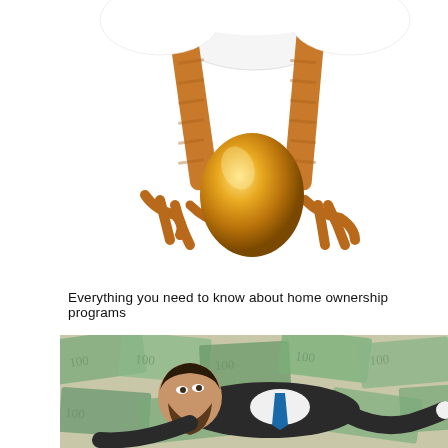[Figure (photo): Close-up photo of a white hen's legs and talons standing over a golden egg on a white background]
Everything you need to know about home ownership programs
[Figure (photo): Photo of a bearded man in a suit lying on a pile of US dollar bills, looking upward]